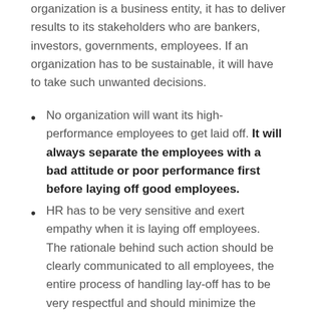organization is a business entity, it has to deliver results to its stakeholders who are bankers, investors, governments, employees. If an organization has to be sustainable, it will have to take such unwanted decisions.
No organization will want its high-performance employees to get laid off. It will always separate the employees with a bad attitude or poor performance first before laying off good employees.
HR has to be very sensitive and exert empathy when it is laying off employees. The rationale behind such action should be clearly communicated to all employees, the entire process of handling lay-off has to be very respectful and should minimize the burden of pain as much as possible while communicating